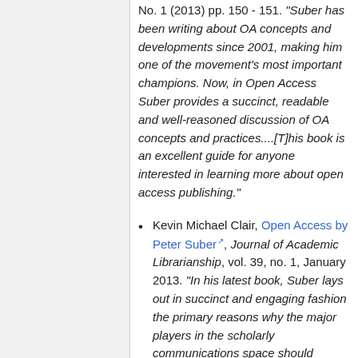No. 1 (2013) pp. 150 - 151. "Suber has been writing about OA concepts and developments since 2001, making him one of the movement's most important champions. Now, in Open Access Suber provides a succinct, readable and well-reasoned discussion of OA concepts and practices....[T]his book is an excellent guide for anyone interested in learning more about open access publishing."
Kevin Michael Clair, Open Access by Peter Suber, Journal of Academic Librarianship, vol. 39, no. 1, January 2013. "In his latest book, Suber lays out in succinct and engaging fashion the primary reasons why the major players in the scholarly communications space should